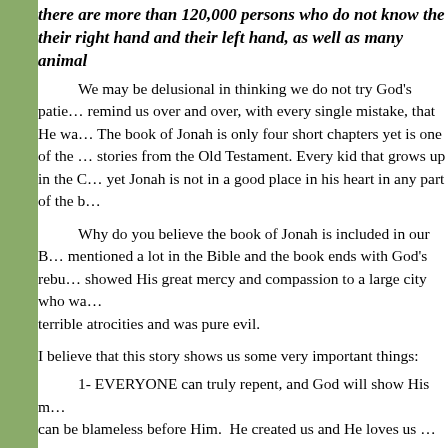there are more than 120,000 persons who do not know their right hand and their left hand, as well as many animals
We may be delusional in thinking we do not try God's patience. He has to remind us over and over, with every single mistake, that He wa... The book of Jonah is only four short chapters yet is one of the most known stories from the Old Testament. Every kid that grows up in the C... yet Jonah is not in a good place in his heart in any part of the b...
Why do you believe the book of Jonah is included in our B... mentioned a lot in the Bible and the book ends with God's rebu... showed His great mercy and compassion to a large city who wa... terrible atrocities and was pure evil.
I believe that this story shows us some very important things:
1- EVERYONE can truly repent, and God will show His mercy. We can be blameless before Him. He created us and He loves us...
2- We should ALL show compassion to others no matter w... they come from.
3- We should all obey God because, How can we RUN a...